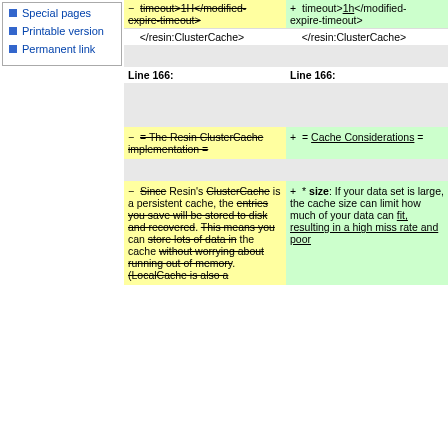Special pages
Printable version
Permanent link
| Old | New |
| --- | --- |
| − timeout>1H</modified-expire-timeout> | + timeout>1h</modified-expire-timeout> |
| </resin:ClusterCache> | </resin:ClusterCache> |
|  |  |
| Line 166: | Line 166: |
|  |  |
|  |  |
| − = The Resin ClusterCache implementation = | + = Cache Considerations = |
|  |  |
| − Since Resin's ClusterCache is a persistent cache, the entries you save will be stored to disk and recovered. This means you can store lots of data in the cache without worrying about running out of memory. (LocalCache is also a | + * <b>size</b>: If your data set is large, the cache size can limit how much of your data can fit, resulting in a high miss rate and poor |